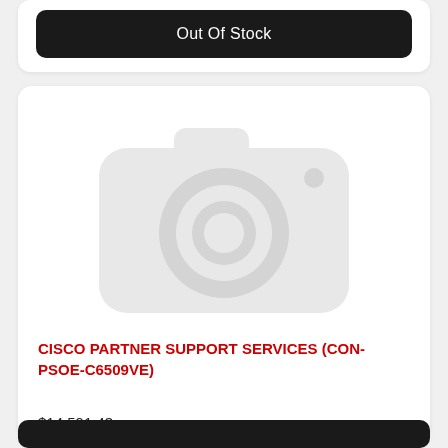Out Of Stock
[Figure (illustration): Placeholder product image showing a camera icon in light gray on white background]
CISCO PARTNER SUPPORT SERVICES (CON-PSOE-C6509VE)
$14,591.43